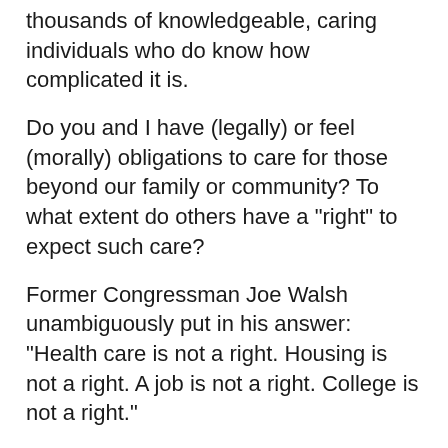thousands of knowledgeable, caring individuals who do know how complicated it is.
Do you and I have (legally) or feel (morally) obligations to care for those beyond our family or community? To what extent do others have a "right" to expect such care?
Former Congressman Joe Walsh unambiguously put in his answer: "Health care is not a right. Housing is not a right. A job is not a right. College is not a right."
If healthcare is a product and housing is a privilege; if a majority believe, and act as if, the needy have no "rights," and we have no "obligations," that pretty much ends the discussion.